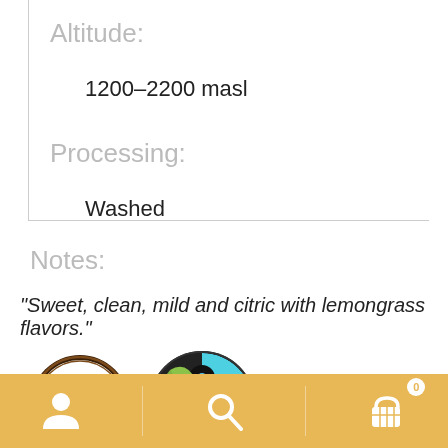Altitude:
1200–2200 masl
Processing:
Washed
Notes:
'Sweet, clean, mild and citric with lemongrass flavors.'
[Figure (logo): USDA Organic certification logo — circular badge with dark brown border, green banner at bottom, text USDA ORGANIC]
[Figure (logo): Fairtrade certification logo — circular yin-yang style mark in black, blue, and green]
Navigation bar with person icon, search icon, and cart icon with badge 0